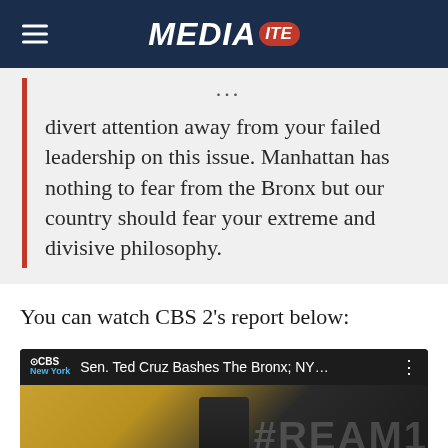MEDIAITE
divert attention away from your failed leadership on this issue. Manhattan has nothing to fear from the Bronx but our country should fear your extreme and divisive philosophy.
You can watch CBS 2’s report below:
[Figure (screenshot): CBS New York video embed thumbnail showing Sen. Ted Cruz Bashes The Bronx; NY... with a person in a dark suit visible against a yellow/dark background with DREAM text]